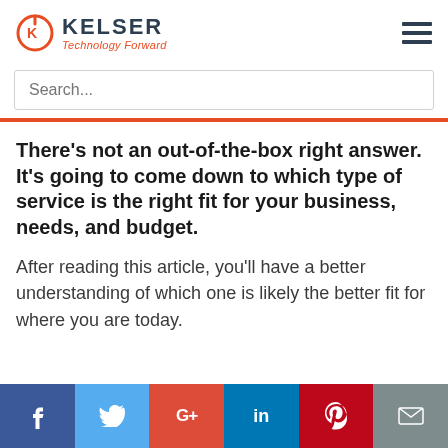KELSER Technology Forward
Search...
There’s not an out-of-the-box right answer. It’s going to come down to which type of service is the right fit for your business, needs, and budget.
After reading this article, you’ll have a better understanding of which one is likely the better fit for where you are today.
Social share bar: Facebook, Twitter, Google+, LinkedIn, Pinterest, Email